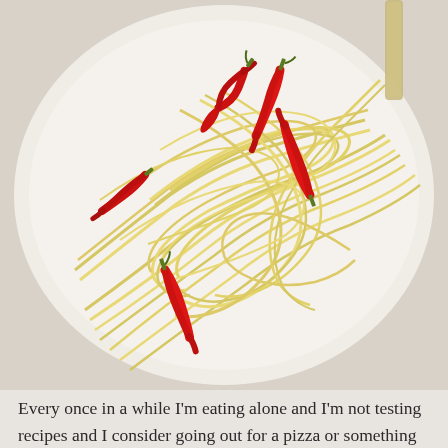[Figure (photo): Close-up photo of spaghetti pasta on a white plate topped with several bright red chili peppers (de arbol chiles). A fork or knife handle is visible in the upper right corner. The background is white/light.]
Every once in a while I'm eating alone and I'm not testing recipes and I consider going out for a pizza or something similar.  Then I am suddenly overcome with the desire to eat something very specific–a craving– that I simply must satisfy that very moment for dinner.  This happened the other night mostly because my de arbol chile plant is producing like crazy and even though it's in a pot, and little, I still have more chiles than I can possibly use.